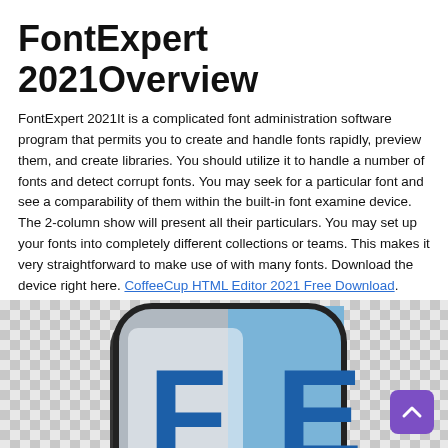FontExpert 2021Overview
FontExpert 2021It is a complicated font administration software program that permits you to create and handle fonts rapidly, preview them, and create libraries. You should utilize it to handle a number of fonts and detect corrupt fonts. You may seek for a particular font and see a comparability of them within the built-in font examine device. The 2-column show will present all their particulars. You may set up your fonts into completely different collections or teams. This makes it very straightforward to make use of with many fonts. Download the device right here. CoffeeCup HTML Editor 2021 Free Download.
[Figure (illustration): FontExpert 2021 application icon showing a rounded square with a checkerboard transparency background, containing a large blue letter F on a grey/blue rounded square icon.]